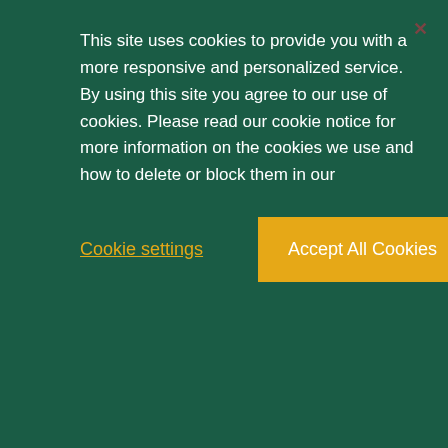This site uses cookies to provide you with a more responsive and personalized service. By using this site you agree to our use of cookies. Please read our cookie notice for more information on the cookies we use and how to delete or block them in our
Cookie settings
Accept All Cookies
[Figure (logo): USA TODAY logo: gray circle on left, bold gray text 'USA TODAY.' on right]
[Figure (logo): Telemundo logo: gray stylized T-bird icon on left, bold gray uppercase text 'TELEMUNDO' on right]